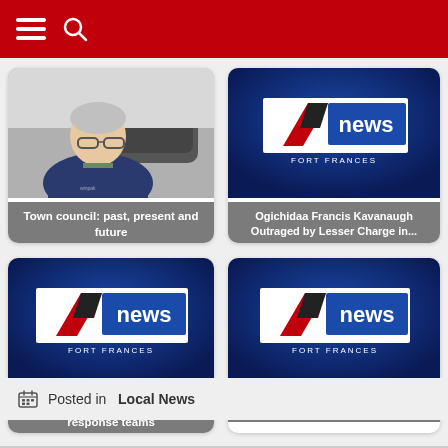Fort Frances News - navigation bar with hamburger menu and search icon
[Figure (photo): Older man in navy jacket seated in office chair with grey chair visible behind him, used as thumbnail for 'Town council: past, present and future']
Town council: past, present and future
[Figure (logo): Fort Frances News logo on dark blue background with text 'Ogichidaa Francis Kavanaugh Outraged by Lesser Charge in...' caption]
Ogichidaa Francis Kavanaugh Outraged by Lesser Charge in...
[Figure (logo): Fort Frances News logo on dark blue background for CMHA OPP story]
CMHA, OPP partner on crisis response teams
[Figure (logo): Fort Frances News logo on dark blue background for arrest story]
Arrest made in two deaths
Posted in   Local News